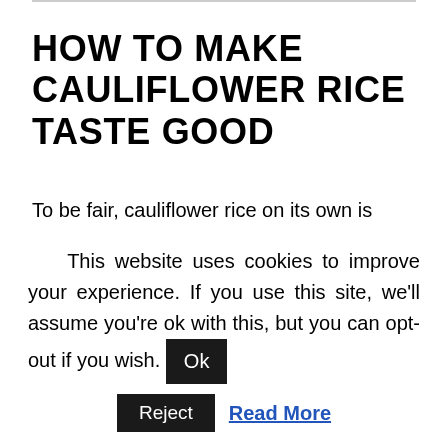HOW TO MAKE CAULIFLOWER RICE TASTE GOOD
To be fair, cauliflower rice on its own is quite bland. The trick is to add a lot of spices and flavors while it is cooking. First, you can start by frying some onion, garlic and ginger
This website uses cookies to improve your experience. If you use this site, we'll assume you're ok with this, but you can opt-out if you wish.
Reject  Read More  Ok